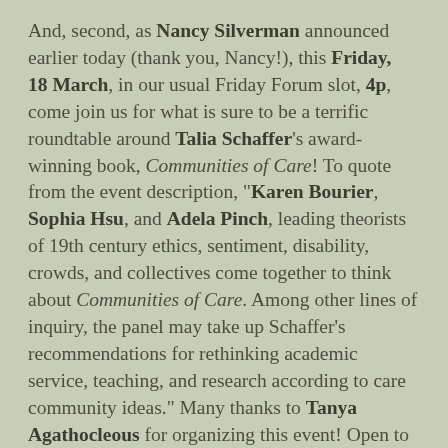And, second, as Nancy Silverman announced earlier today (thank you, Nancy!), this Friday, 18 March, in our usual Friday Forum slot, 4p, come join us for what is sure to be a terrific roundtable around Talia Schaffer's award-winning book, Communities of Care! To quote from the event description, "Karen Bourier, Sophia Hsu, and Adela Pinch, leading theorists of 19th century ethics, sentiment, disability, crowds, and collectives come together to think about Communities of Care. Among other lines of inquiry, the panel may take up Schaffer's recommendations for rethinking academic service, teaching, and research according to care community ideas." Many thanks to Tanya Agathocleous for organizing this event! Open to the public, as ever, and/but zoom registration is required: https://gc-cuny-edu.zoom.us/meeting/register/tZYldOGurDojGt02FWRUlbR061Yc-fAB4fR...